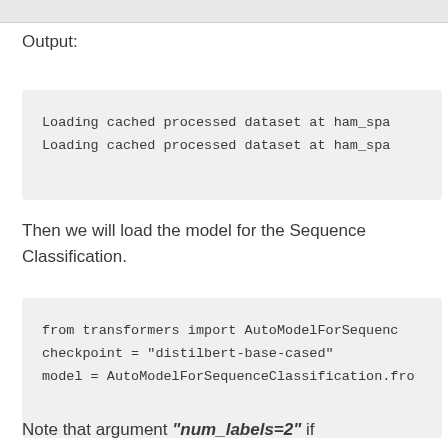Output:
Loading cached processed dataset at ham_spa
Loading cached processed dataset at ham_spa
Then we will load the model for the Sequence Classification.
from transformers import AutoModelForSequenc
checkpoint = "distilbert-base-cased"
model = AutoModelForSequenceClassification.fro
Note that argument "num_labels=2" if